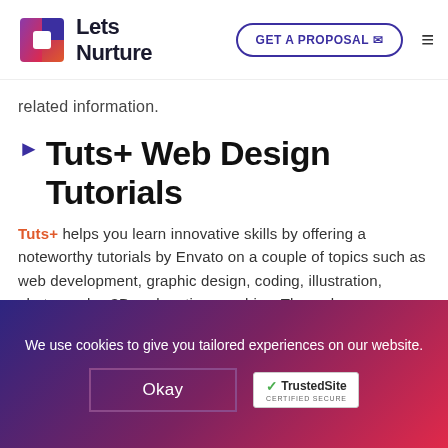[Figure (logo): LetsNurture logo with colorful geometric square icon and bold text 'Lets Nurture']
related information.
Tuts+ Web Design Tutorials
Tuts+ helps you learn innovative skills by offering a noteworthy tutorials by Envato on a couple of topics such as web development, graphic design, coding, illustration, photography, 3D and motion graphics. The web page highlights awesome design cases to help you ace HTML, CSS, UX and
We use cookies to give you tailored experiences on our website.